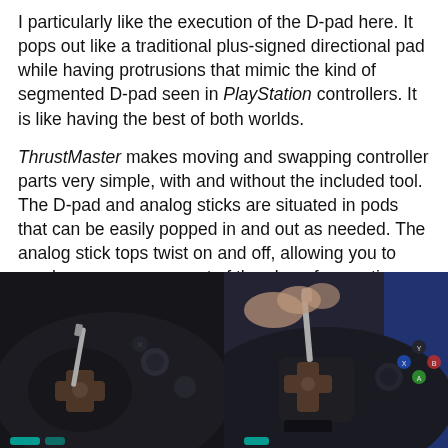I particularly like the execution of the D-pad here. It pops out like a traditional plus-signed directional pad while having protrusions that mimic the kind of segmented D-pad seen in PlayStation controllers. It is like having the best of both worlds.
ThrustMaster makes moving and swapping controller parts very simple, with and without the included tool. The D-pad and analog sticks are situated in pods that can be easily popped in and out as needed. The analog stick tops twist on and off, allowing you to employ any arrangement of thumb surface options that you choose.
[Figure (photo): Close-up photo of a ThrustMaster game controller showing a D-pad being worked on with a small tool, with analog sticks visible.]
[Figure (photo): Close-up photo of a ThrustMaster game controller D-pad being removed or inserted with a tool, with colored face buttons visible on the right.]